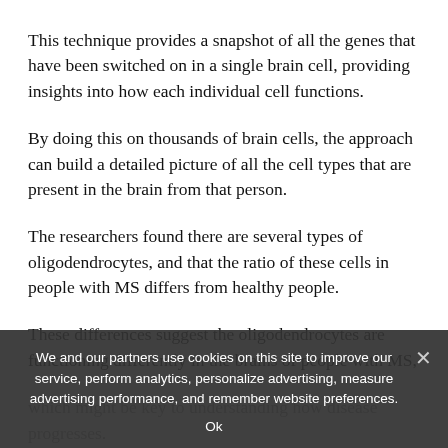This technique provides a snapshot of all the genes that have been switched on in a single brain cell, providing insights into how each individual cell functions.
By doing this on thousands of brain cells, the approach can build a detailed picture of all the cell types that are present in the brain from that person.
The researchers found there are several types of oligodendrocytes, and that the ratio of these cells in people with MS differs from healthy people.
These differences suggest the oligodendrocytes are functioning differently in the brains of people with MS,
which might be key to understanding how disease progresses. (faded/obscured)
MS occurs when the protective sheath that surrounds nerve cells—called myelin—becomes damaged. This means that nerve cells can't communicate effectively. (faded/obscured)
We and our partners use cookies on this site to improve our service, perform analytics, personalize advertising, measure advertising performance, and remember website preferences.
Ok